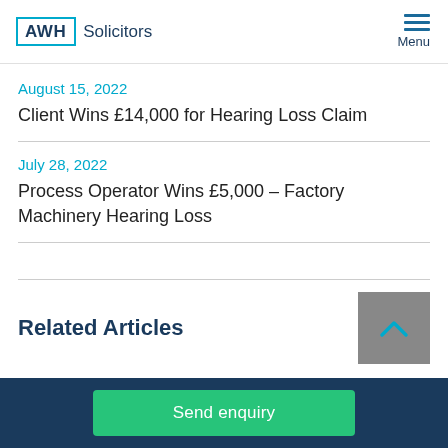AWH Solicitors | Menu
August 15, 2022
Client Wins £14,000 for Hearing Loss Claim
July 28, 2022
Process Operator Wins £5,000 – Factory Machinery Hearing Loss
Related Articles
Send enquiry